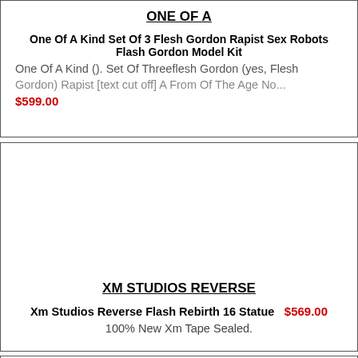ONE OF A
One Of A Kind Set Of 3 Flesh Gordon Rapist Sex Robots Flash Gordon Model Kit
One Of A Kind (). Set Of Threeflesh Gordon (yes, Flesh Gordon) Rapist …
$599.00
XM STUDIOS REVERSE
Xm Studios Reverse Flash Rebirth 16 Statue  $569.00
100% New Xm Tape Sealed.